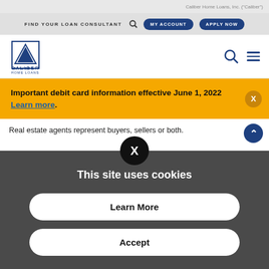Caliber Home Loans, Inc. ("Caliber")
[Figure (screenshot): Navigation bar with FIND YOUR LOAN CONSULTANT search, MY ACCOUNT and APPLY NOW buttons]
[Figure (logo): Caliber Home Loans logo with triangular arrow icon and company name]
Important debit card information effective June 1, 2022 Learn more.
Real estate agents represent buyers, sellers or both.
This site uses cookies
Learn More
Accept